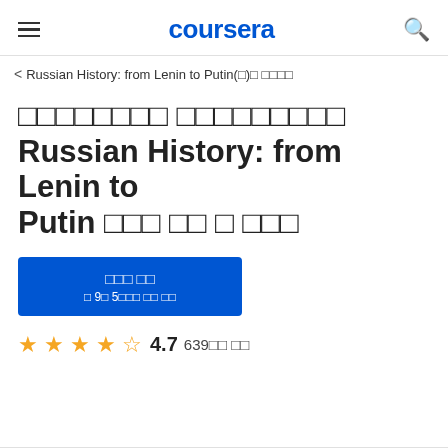coursera
Russian History: from Lenin to Putin(□)□ □□□□
□□□□□□□□ □□□□□□□□□ Russian History: from Lenin to Putin □□□ □□ □ □□□
□□□ □□  □ 9□ 5□□□ □□ □□
4.7  639□□ □□